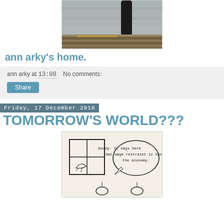[Figure (photo): Photo of a person in dark clothing standing against a brick wall, viewed from below/mid-level, cobblestone ground visible]
ann arky's home.
ann arky at 13:08   No comments:
Share
Friday, 17 December 2010
TOMORROW'S WORLD???
[Figure (illustration): Cartoon drawing showing a figure next to a window/grid, with a speech bubble saying 'Goody: It says here that wage restraint is saving the economy.' Two figures visible at the bottom.]